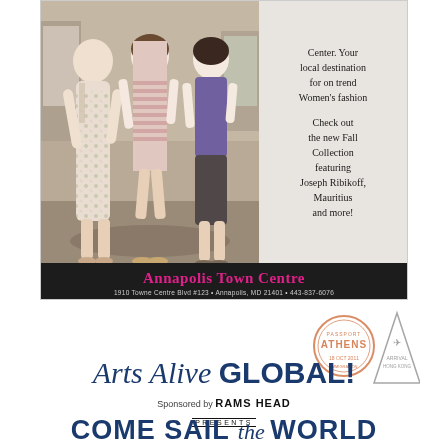[Figure (photo): Two women in dresses posing in a boutique clothing store, with a third person partially visible. Fashion boutique interior.]
Jane & Betsey Abraham; Mother/Daughter
Co-Owners of Scout & Molly Boutique Annapolis
Center. Your local destination for on trend Women's fashion

Check out the new Fall Collection featuring Joseph Ribikoff, Mauritius and more!
Annapolis Town Centre
1910 Towne Centre Blvd #123 • Annapolis, MD 21401 • 443-837-6076
[Figure (illustration): Two travel passport stamps: one round orange stamp reading ATHENS and one triangular stamp reading HONG KONG with an airplane icon]
Arts Alive GLOBAL!
Sponsored by RAMS HEAD PRESENTS
COME SAIL the WORLD